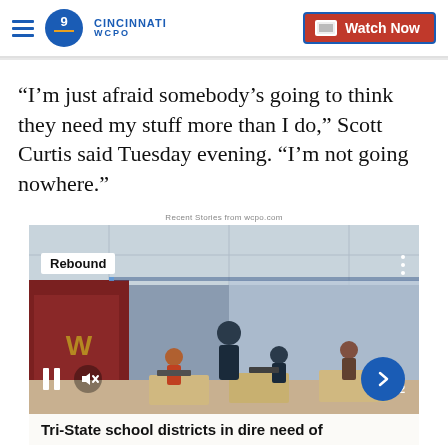WCPO 9 CINCINNATI | Watch Now
“I’m just afraid somebody’s going to think they need my stuff more than I do,” Scott Curtis said Tuesday evening. “I’m not going nowhere.”
Recent Stories from wcpo.com
[Figure (photo): Classroom scene with teacher wearing mask and students working at computers, with a video overlay showing Rebound tag, pause/mute controls, and a caption bar reading 'Tri-State school districts in dire need of']